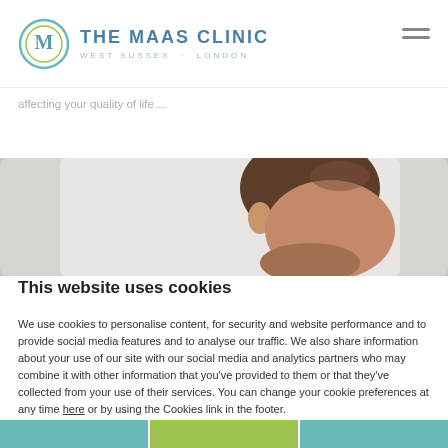THE MAAS CLINIC - WEST SUSSEX + LONDON
affecting your quality of life....
[Figure (photo): Man with head bowed, appearing distressed or in pain, photographed against a light background]
This website uses cookies
We use cookies to personalise content, for security and website performance and to provide social media features and to analyse our traffic. We also share information about your use of our site with our social media and analytics partners who may combine it with other information that you've provided to them or that they've collected from your use of their services. You can change your cookie preferences at any time here or by using the Cookies link in the footer.